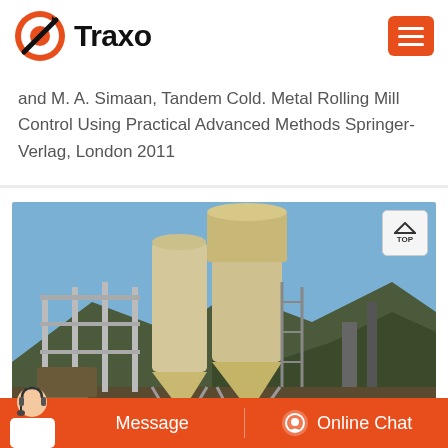Traxo
and M. A. Simaan, Tandem Cold. Metal Rolling Mill Control Using Practical Advanced Methods Springer-Verlag, London 2011
[Figure (photo): Industrial milling or grinding machinery with large cylindrical silos and conical hoppers, set outdoors against a blue sky with hills in background. Equipment is painted beige/cream color with metal scaffolding.]
Message | Online Chat